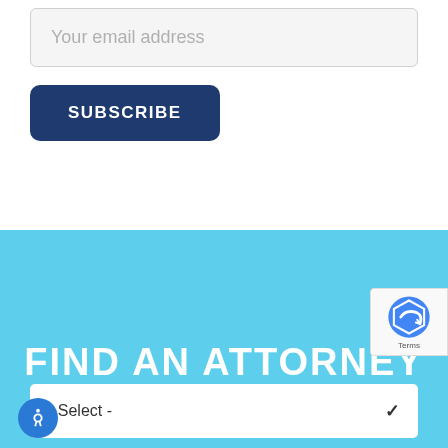Your email address
SUBSCRIBE
FIND AN ATTORNEY
- Select -